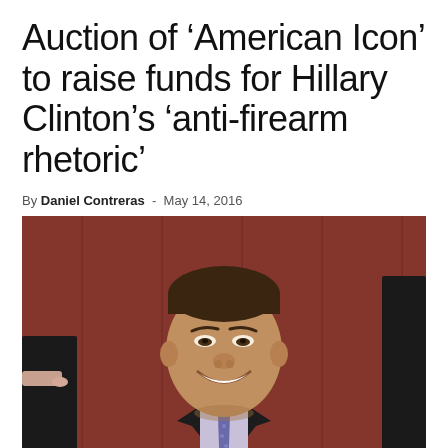Auction of ‘American Icon’ to raise funds for Hillary Clinton’s ‘anti-firearm rhetoric’
By Daniel Contreras - May 14, 2016
[Figure (photo): A smiling man in a dark suit and tie seated, looking upward, with a wood-paneled background and partial figures on either side.]